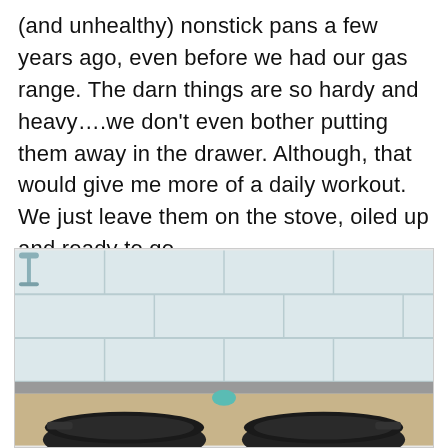(and unhealthy) nonstick pans a few years ago, even before we had our gas range. The darn things are so hardy and heavy….we don't even bother putting them away in the drawer. Although, that would give me more of a daily workout. We just leave them on the stove, oiled up and ready to go.
[Figure (photo): Two black cast iron skillets sitting on a stovetop in front of a white subway tile backsplash, with a faucet visible in the upper left corner.]